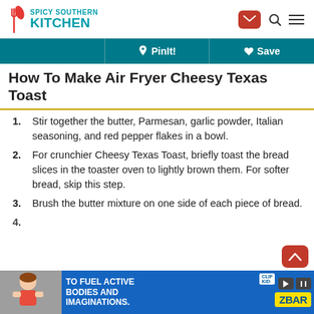Spicy Southern Kitchen
How To Make Air Fryer Cheesy Texas Toast
Stir together the butter, Parmesan, garlic powder, Italian seasoning, and red pepper flakes in a bowl.
For crunchier Cheesy Texas Toast, briefly toast the bread slices in the toaster oven to lightly brown them. For softer bread, skip this step.
Brush the butter mixture on one side of each piece of bread.
4. (partial — cut off by ad)
[Figure (screenshot): Advertisement banner: 'TO FUEL ACTIVE BODIES AND IMAGINATIONS.' with CLIF Kid ZBar product image]